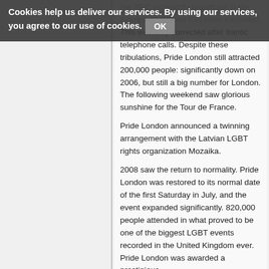Cookies help us deliver our services. By using our services, you agree to our use of cookies. OK
the BBC incorrectly broadcast in the morning that Pride had been cancelled. This was only corrected after frantic telephone calls. Despite these tribulations, Pride London still attracted 200,000 people: significantly down on 2006, but still a big number for London. The following weekend saw glorious sunshine for the Tour de France.
Pride London announced a twinning arrangement with the Latvian LGBT rights organization Mozaika.
2008 saw the return to normality. Pride London was restored to its normal date of the first Saturday in July, and the event expanded significantly. 820,000 people attended in what proved to be one of the biggest LGBT events recorded in the United Kingdom ever. Pride London was awarded a prestigious